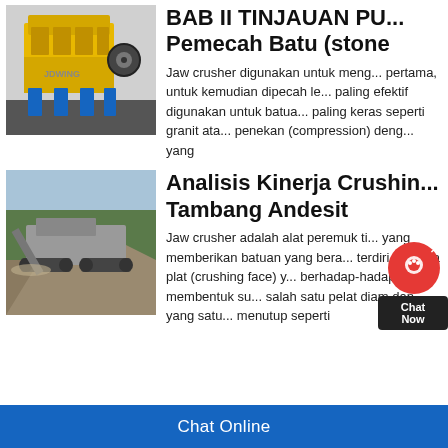[Figure (photo): Yellow jaw crusher machine on blue legs in factory setting]
BAB II TINJAUAN PU... Pemecah Batu (stone
Jaw crusher digunakan untuk meng... pertama, untuk kemudian dipecah le... paling efektif digunakan untuk batua... paling keras seperti granit ata... penekan (compression) deng... yang
[Figure (photo): Mobile crushing plant machine at an andesite mining quarry site]
Analisis Kinerja Crushin... Tambang Andesit
Jaw crusher adalah alat peremuk ti... yang memberikan batuan yang bera... terdiri dari dua plat (crushing face) y... berhadap-hadapan, membentuk su... salah satu pelat diam dan yang satu... menutup seperti
Chat Online